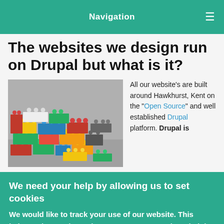Navigation
The websites we design run on Drupal but what is it?
[Figure (photo): Photo of colorful LEGO bricks stacked in various patterns on a gray surface]
All our website's are built around Hawkhurst, Kent on the "Open Source" and well established Drupal platform. Drupal is
We need your help by allowing us to set cookies
We would like to track your use of our website. This helps us know what to improve. Don't worry though, it is anonymous. More info